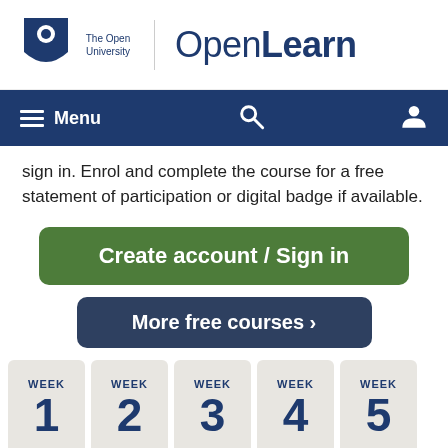[Figure (logo): Open University OpenLearn logo with shield icon and text]
[Figure (screenshot): Navigation bar with Menu, search icon, and user icon on dark blue background]
sign in. Enrol and complete the course for a free statement of participation or digital badge if available.
Create account / Sign in
More free courses >
WEEK 1
WEEK 2
WEEK 3
WEEK 4
WEEK 5
WEEK 6
WEEK 7
WEEK 8